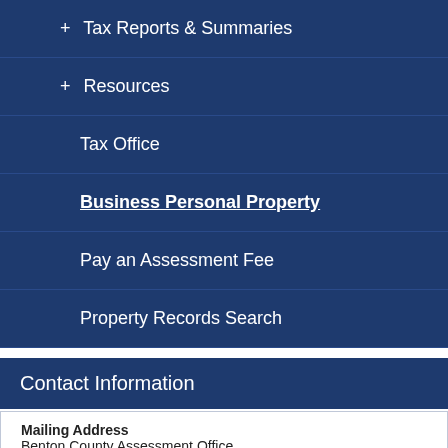+ Tax Reports & Summaries
+ Resources
Tax Office
Business Personal Property
Pay an Assessment Fee
Property Records Search
Contact Information
Mailing Address
Benton County Assessment Office